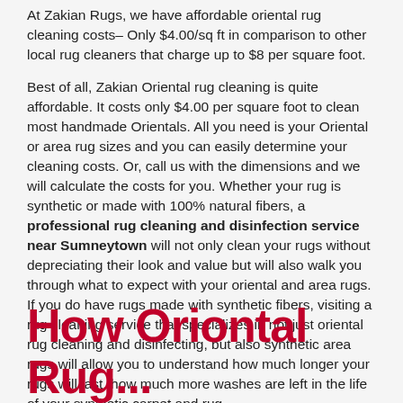At Zakian Rugs, we have affordable oriental rug cleaning costs– Only $4.00/sq ft in comparison to other local rug cleaners that charge up to $8 per square foot.
Best of all, Zakian Oriental rug cleaning is quite affordable. It costs only $4.00 per square foot to clean most handmade Orientals. All you need is your Oriental or area rug sizes and you can easily determine your cleaning costs. Or, call us with the dimensions and we will calculate the costs for you. Whether your rug is synthetic or made with 100% natural fibers, a professional rug cleaning and disinfection service near Sumneytown will not only clean your rugs without depreciating their look and value but will also walk you through what to expect with your oriental and area rugs. If you do have rugs made with synthetic fibers, visiting a rug cleaning service that specializes in not just oriental rug cleaning and disinfecting, but also synthetic area rugs will allow you to understand how much longer your rugs will last, how much more washes are left in the life of your synthetic carpet and rug.
How Oriontal Rug...